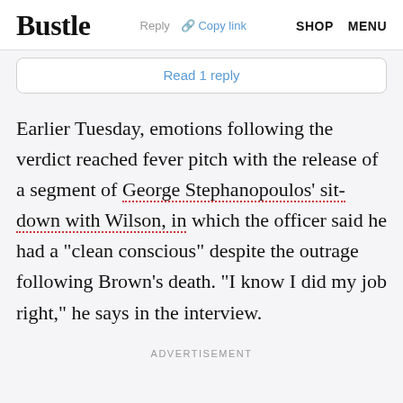Bustle  Reply  Copy link  SHOP  MENU
Read 1 reply
Earlier Tuesday, emotions following the verdict reached fever pitch with the release of a segment of George Stephanopoulos' sit-down with Wilson, in which the officer said he had a "clean conscious" despite the outrage following Brown's death. "I know I did my job right," he says in the interview.
ADVERTISEMENT